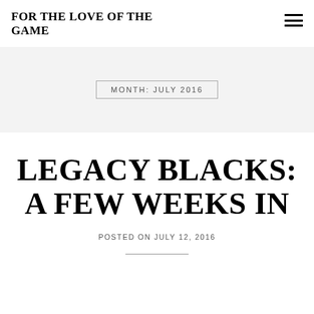FOR THE LOVE OF THE GAME
MONTH: JULY 2016
LEGACY BLACKS: A FEW WEEKS IN
POSTED ON JULY 12, 2016